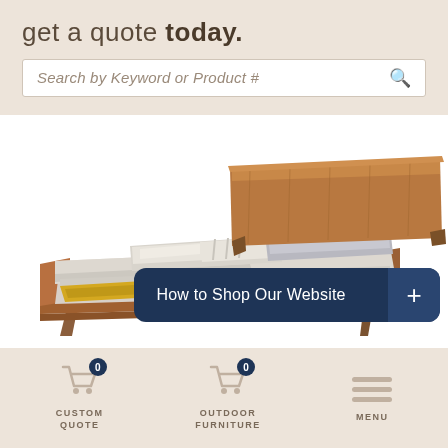get a quote today.
Search by Keyword or Product #
[Figure (photo): Mid-century modern wooden platform bed with light grey bedding, pillows, and a yellow throw blanket, photographed against a white background]
How to Shop Our Website
CUSTOM QUOTE
OUTDOOR FURNITURE
MENU